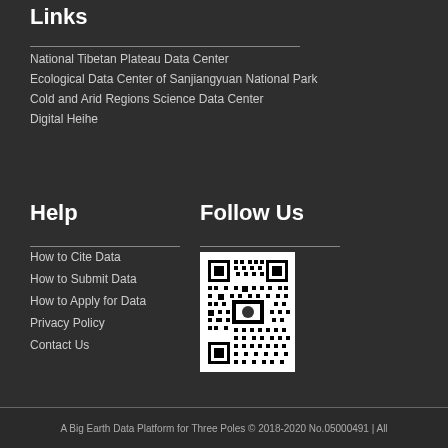Links
National Tibetan Plateau Data Center
Ecological Data Center of Sanjiangyuan National Park
Cold and Arid Regions Science Data Center
Digital Heihe
Help
How to Cite Data
How to Submit Data
How to Apply for Data
Privacy Policy
Contact Us
Follow Us
[Figure (other): QR code for following the platform]
A Big Earth Data Platform for Three Poles © 2018-2020 No.05000491 | All